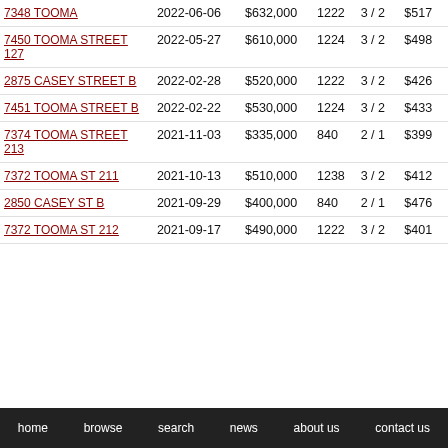| Address | Date | Price | Sqft | Bed/Bath | $/Sqft |
| --- | --- | --- | --- | --- | --- |
| 7348 TOOMA | 2022-06-06 | $632,000 | 1222 | 3 / 2 | $517 |
| 7450 TOOMA STREET 127 | 2022-05-27 | $610,000 | 1224 | 3 / 2 | $498 |
| 2875 CASEY STREET B | 2022-02-28 | $520,000 | 1222 | 3 / 2 | $426 |
| 7451 TOOMA STREET B | 2022-02-22 | $530,000 | 1224 | 3 / 2 | $433 |
| 7374 TOOMA STREET 213 | 2021-11-03 | $335,000 | 840 | 2 / 1 | $399 |
| 7372 TOOMA ST 211 | 2021-10-13 | $510,000 | 1238 | 3 / 2 | $412 |
| 2850 CASEY ST B | 2021-09-29 | $400,000 | 840 | 2 / 1 | $476 |
| 7372 TOOMA ST 212 | 2021-09-17 | $490,000 | 1222 | 3 / 2 | $401 |
home   browse   search   news   about us   contact us